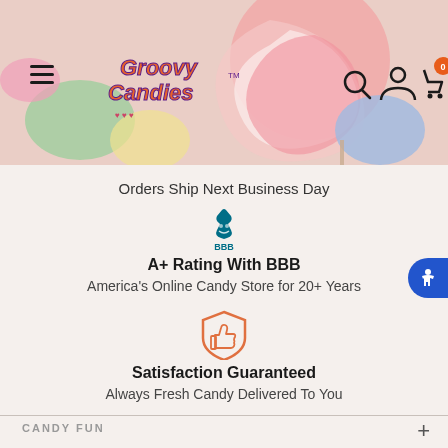[Figure (screenshot): Groovy Candies website header with colorful candy background image, hamburger menu icon, Groovy Candies logo, search icon, user icon, and cart icon with badge showing 0]
Orders Ship Next Business Day
[Figure (logo): BBB (Better Business Bureau) logo in teal/dark blue]
A+ Rating With BBB
America's Online Candy Store for 20+ Years
[Figure (illustration): Thumbs up inside a shield icon in orange outline style]
Satisfaction Guaranteed
Always Fresh Candy Delivered To You
CANDY FUN